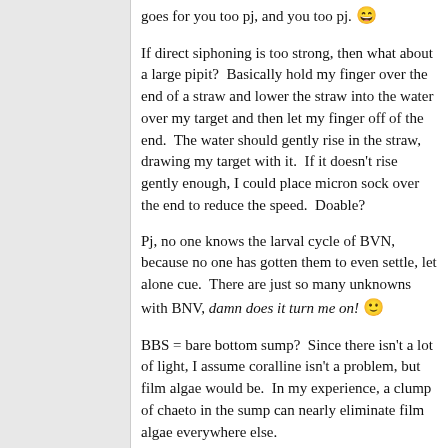goes for you too pj, and you too pj. 😄
If direct siphoning is too strong, then what about a large pipit?  Basically hold my finger over the end of a straw and lower the straw into the water over my target and then let my finger off of the end.  The water should gently rise in the straw, drawing my target with it.  If it doesn't rise gently enough, I could place micron sock over the end to reduce the speed.  Doable?
Pj, no one knows the larval cycle of BVN, because no one has gotten them to even settle, let alone cue.  There are just so many unknowns with BNV, damn does it turn me on! 🙂
BBS = bare bottom sump?  Since there isn't a lot of light, I assume coralline isn't a problem, but film algae would be.  In my experience, a clump of chaeto in the sump can nearly eliminate film algae everywhere else.